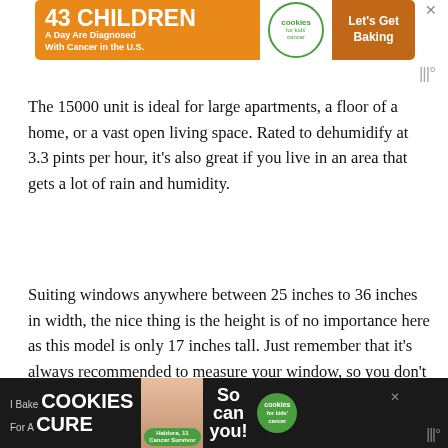[Figure (infographic): Advertisement banner: '43 CHILDREN A Day Are Diagnosed With Cancer in the U.S.' with cookies for kids' cancer logo and 'Let's Get Baking' text on orange background]
The 15000 unit is ideal for large apartments, a floor of a home, or a vast open living space. Rated to dehumidify at 3.3 pints per hour, it's also great if you live in an area that gets a lot of rain and humidity.
Suiting windows anywhere between 25 inches to 36 inches in width, the nice thing is the height is of no importance here as this model is only 17 inches tall. Just remember that it's always recommended to measure your window, so you don't end up with a model too big or small. Coming with side curtains and insulation strips, you don't have to worry about
[Figure (infographic): Advertisement banner at bottom: 'I Bake COOKIES For A CURE' with Haldora, 11 Cancer Survivor and 'So can you!' text with cookies for kids' cancer logo on dark background]